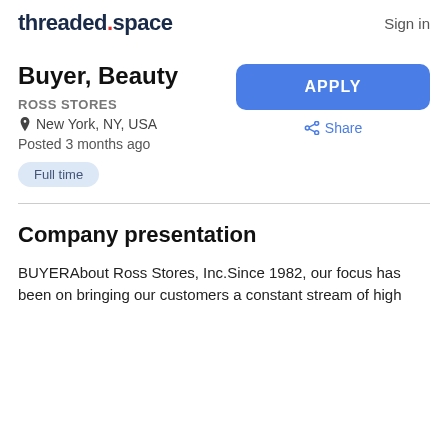threaded.space  Sign in
Buyer, Beauty
ROSS STORES
New York, NY, USA
Posted 3 months ago
Full time
Company presentation
BUYERAbout Ross Stores, Inc.Since 1982, our focus has been on bringing our customers a constant stream of high